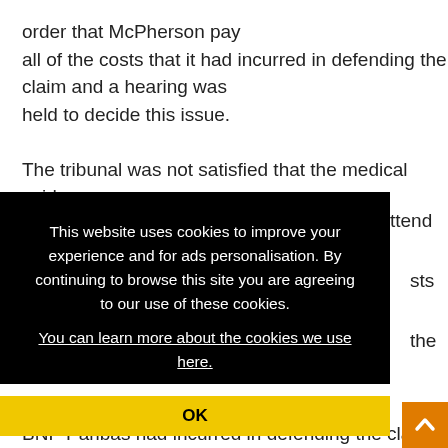order that McPherson pay all of the costs that it had incurred in defending the claim and a hearing was held to decide this issue.

The tribunal was not satisfied that the medical evidence produced by
This website uses cookies to improve your experience and for ads personalisation. By continuing to browse this site you are agreeing to our use of these cookies. You can learn more about the cookies we use here.
OK
BNP Paribas had incurred in defending the claim, from